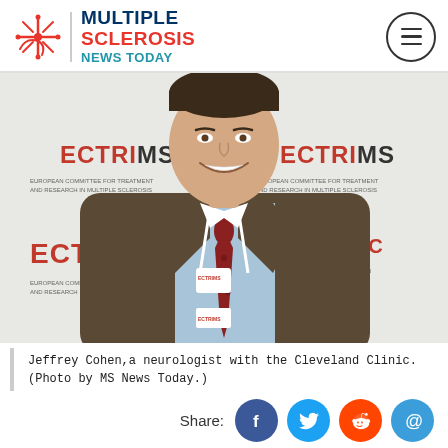Multiple Sclerosis News Today
[Figure (photo): Man in brown suit and red patterned tie smiling at camera, standing in front of an ECTRIMS conference backdrop with repeated ECTRIMS logos]
Jeffrey Cohen,a neurologist with the Cleveland Clinic. (Photo by MS News Today.)
Share: